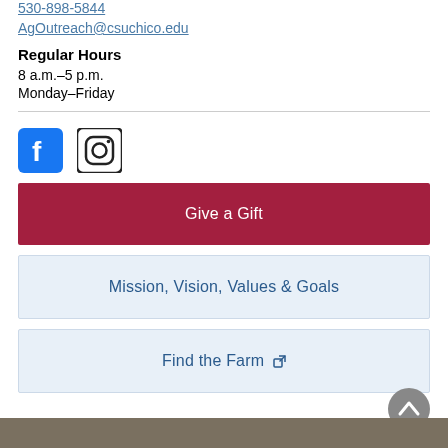530-898-5844
AgOutreach@csuchico.edu
Regular Hours
8 a.m.–5 p.m.
Monday–Friday
[Figure (logo): Facebook and Instagram social media icons]
Give a Gift
Mission, Vision, Values & Goals
Find the Farm